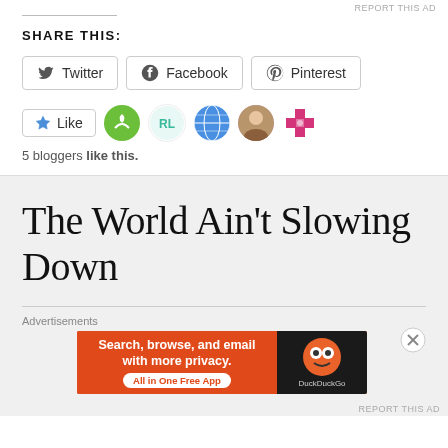REPORT THIS AD
Share This:
[Figure (screenshot): Social share buttons for Twitter, Facebook, Pinterest, and a Like button with 5 blogger avatars shown]
5 bloggers like this.
The World Ain't Slowing Down
Advertisements
[Figure (screenshot): DuckDuckGo advertisement banner: Search, browse, and email with more privacy. All in One Free App]
REPORT THIS AD